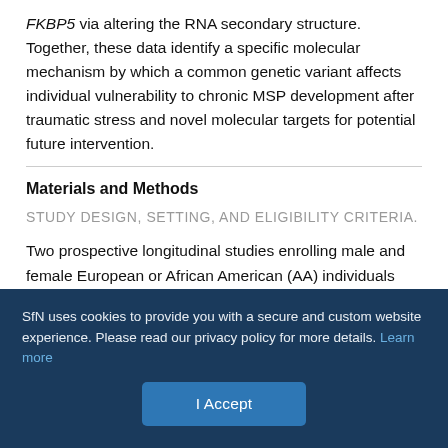FKBP5 via altering the RNA secondary structure. Together, these data identify a specific molecular mechanism by which a common genetic variant affects individual vulnerability to chronic MSP development after traumatic stress and novel molecular targets for potential future intervention.
Materials and Methods
STUDY DESIGN, SETTING, AND ELIGIBILITY CRITERIA.
Two prospective longitudinal studies enrolling male and female European or African American (AA) individuals (18–65 years of age) presenting to the emergency department (ED) within 24 h of MVC were used to study chronic post-traumatic MSP outcomes. The
SfN uses cookies to provide you with a secure and custom website experience. Please read our privacy policy for more details. Learn more